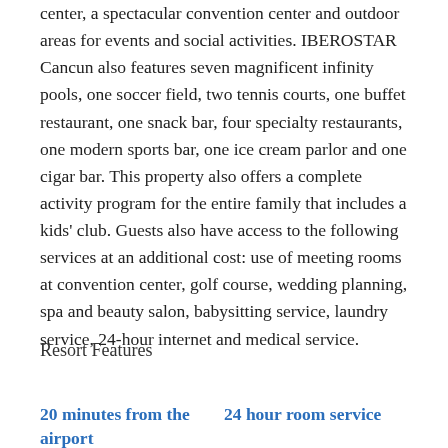center, a spectacular convention center and outdoor areas for events and social activities. IBEROSTAR Cancun also features seven magnificent infinity pools, one soccer field, two tennis courts, one buffet restaurant, one snack bar, four specialty restaurants, one modern sports bar, one ice cream parlor and one cigar bar. This property also offers a complete activity program for the entire family that includes a kids' club. Guests also have access to the following services at an additional cost: use of meeting rooms at convention center, golf course, wedding planning, spa and beauty salon, babysitting service, laundry service, 24-hour internet and medical service.
Resort Features
20 minutes from the airport
24 hour room service